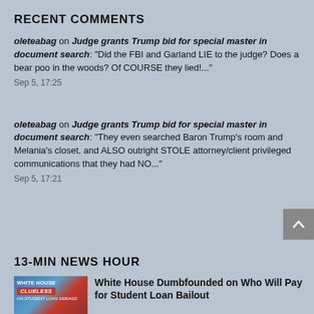RECENT COMMENTS
oleteabag on Judge grants Trump bid for special master in document search: “Did the FBI and Garland LIE to the judge? Does a bear poo in the woods? Of COURSE they lied!...”
Sep 5, 17:25
oleteabag on Judge grants Trump bid for special master in document search: “They even searched Baron Trump’s room and Melania’s closet, and ALSO outright STOLE attorney/client privileged communications that they had NO...”
Sep 5, 17:21
13-MIN NEWS HOUR
[Figure (photo): Thumbnail image with 'WHITE HOUSE CLUELESS ON STUDENT LOAN DEBAGS' text overlay]
White House Dumbfounded on Who Will Pay for Student Loan Bailout